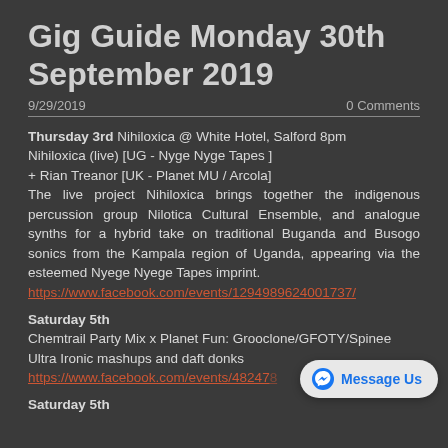Gig Guide Monday 30th September 2019
9/29/2019    0 Comments
Thursday 3rd Nihiloxica @ White Hotel, Salford 8pm Nihiloxica (live) [UG - Nyge Nyge Tapes ] + Rian Treanor [UK - Planet MU / Arcola] The live project Nihiloxica brings together the indigenous percussion group Nilotica Cultural Ensemble, and analogue synths for a hybrid take on traditional Buganda and Busogo sonics from the Kampala region of Uganda, appearing via the esteemed Nyege Nyege Tapes imprint. https://www.facebook.com/events/1294989624001737/
Saturday 5th Chemtrail Party Mix x Planet Fun: Grooclone/GFOTY/Spinee Ultra Ironic mashups and daft donks https://www.facebook.com/events/48247...
Saturday 5th